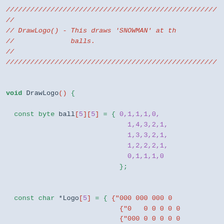// DrawLogo() - This draws 'SNOWMAN' at th //               balls. //
void DrawLogo() {
  const byte ball[5][5] = { 0,1,1,1,0, 1,4,3,2,1, 1,3,3,2,1, 1,2,2,2,1, 0,1,1,1,0 };
  const char *Logo[5] = { {"000 000 000 0 {"0   0 0 0 0 0 {"000 0 0 0 0 0 {"   0 0 0 0 0